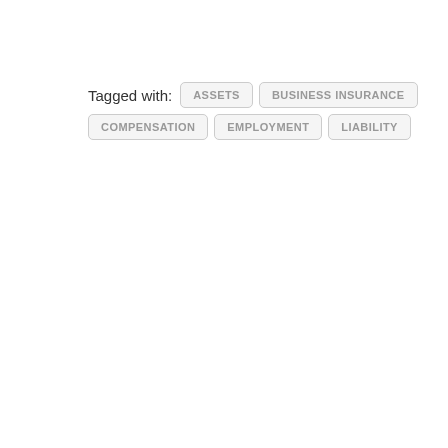Tagged with: ASSETS  BUSINESS INSURANCE  COMPENSATION  EMPLOYMENT  LIABILITY